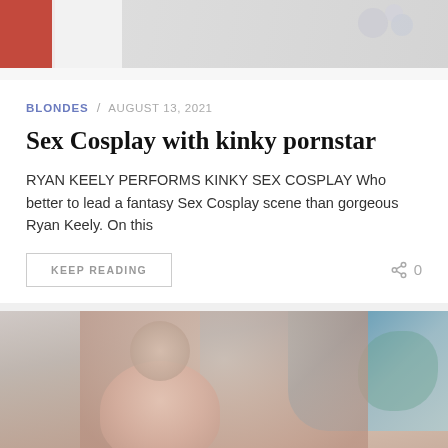[Figure (photo): Partial photo showing red outfit and jewelry/accessory, cropped at top]
BLONDES / AUGUST 13, 2021
Sex Cosplay with kinky pornstar
RYAN KEELY PERFORMS KINKY SEX COSPLAY Who better to lead a fantasy Sex Cosplay scene than gorgeous Ryan Keely. On this
KEEP READING
0
[Figure (photo): Woman with dark hair, arms raised above head, smiling, light blue and floral background]